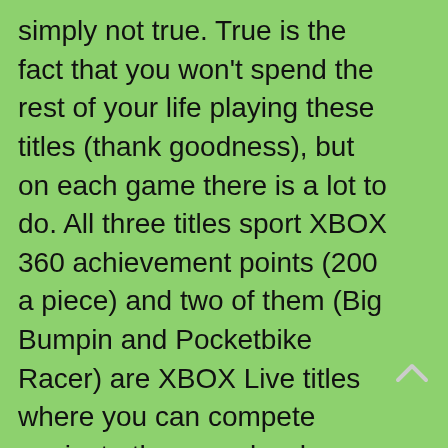simply not true. True is the fact that you won't spend the rest of your life playing these titles (thank goodness), but on each game there is a lot to do. All three titles sport XBOX 360 achievement points (200 a piece) and two of them (Big Bumpin and Pocketbike Racer) are XBOX Live titles where you can compete against other people who dabble in having the whopper done their way. Sneak King I think missed the boat a little by not including a live mini game of some sort. Perhaps a spy vs spy thing